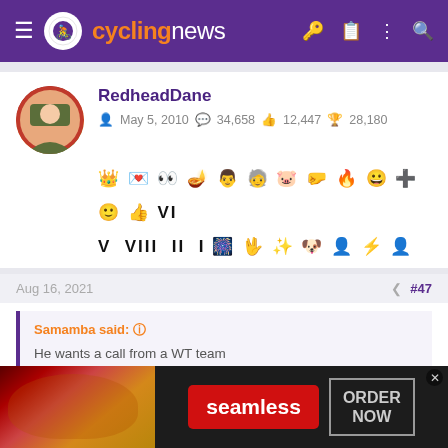cyclingnews
RedheadDane
May 5, 2010  34,658  12,447  28,180
Aug 16, 2021  #47
Samamba said: ↑

He wants a call from a WT team
[Figure (screenshot): Seamless food delivery advertisement banner with pizza image, red Seamless button, and ORDER NOW button]